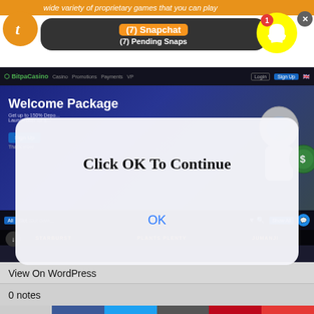wide variety of proprietary games that you can play
[Figure (screenshot): Snapchat notification banner showing (7) Snapchat and (7) Pending Snaps over an orange background with Tumblr icon and Snapchat ghost icon]
[Figure (screenshot): BitStarz casino website screenshot showing Welcome Package promotion with Sign Up button and slot game thumbnails including Starburst, Plants Plenty, Jumanji]
[Figure (screenshot): Modal dialog overlay on casino screenshot reading Click OK To Continue with OK button in blue text]
View On WordPress
0 notes
[Figure (infographic): Social share bar with 0 SHARES count and buttons for Facebook, Twitter, Email, Pinterest, and More]